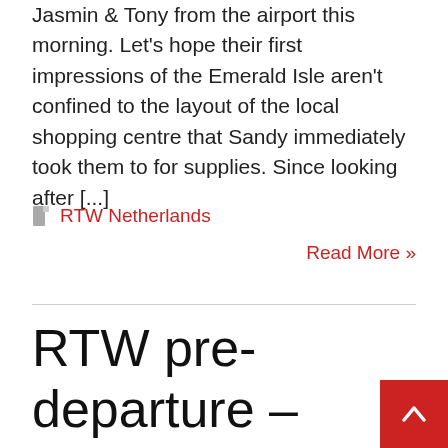Jasmin & Tony from the airport this morning. Let's hope their first impressions of the Emerald Isle aren't confined to the layout of the local shopping centre that Sandy immediately took them to for supplies. Since looking after [...]
RTW Netherlands
Read More »
RTW pre-departure – Kerkrade, Netherlands T-60